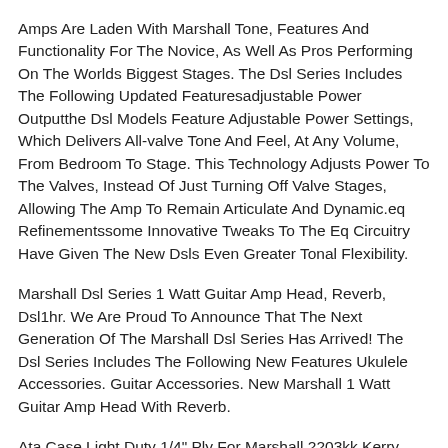Amps Are Laden With Marshall Tone, Features And Functionality For The Novice, As Well As Pros Performing On The Worlds Biggest Stages. The Dsl Series Includes The Following Updated Featuresadjustable Power Outputthe Dsl Models Feature Adjustable Power Settings, Which Delivers All-valve Tone And Feel, At Any Volume, From Bedroom To Stage. This Technology Adjusts Power To The Valves, Instead Of Just Turning Off Valve Stages, Allowing The Amp To Remain Articulate And Dynamic.eq Refinementssome Innovative Tweaks To The Eq Circuitry Have Given The New Dsls Even Greater Tonal Flexibility.
Marshall Dsl Series 1 Watt Guitar Amp Head, Reverb, Dsl1hr. We Are Proud To Announce That The Next Generation Of The Marshall Dsl Series Has Arrived! The Dsl Series Includes The Following New Features Ukulele Accessories. Guitar Accessories. New Marshall 1 Watt Guitar Amp Head With Reverb.
Ata Case Light Duty 1/4" Ply For Marshall 2203kk Kerry King Sig Jcm800 Amp Head. This Is Not A Generic Size Case. This Case Will Be Custom Made To Fit A Marshall 2203kk Kerry King Sig Jcm800 Amp Head. Light Duty 14" Plywood Ata Amp Head Case -all Recessed - Poly Foam Lined. Important!